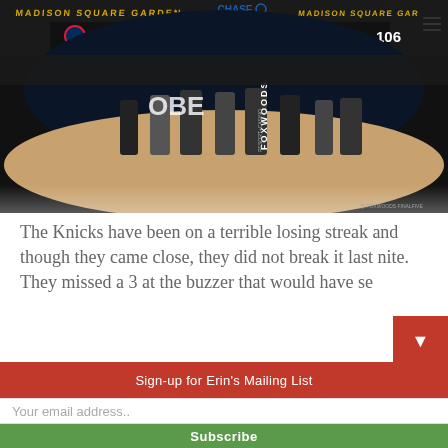[Figure (photo): Basketball game at Madison Square Garden showing the scoreboard with Wizards 106 vs Knicks 103, players on court, crowd visible, Foxwoods Resort Casino signage and Chase branding visible on the jumbotron.]
The Knicks have been on a terrible losing streak and though they came close, they did not break it last nite. They missed a 3 at the buzzer that would have se
Sign-up for Erin's Mailing List
Your email address..
Subscribe